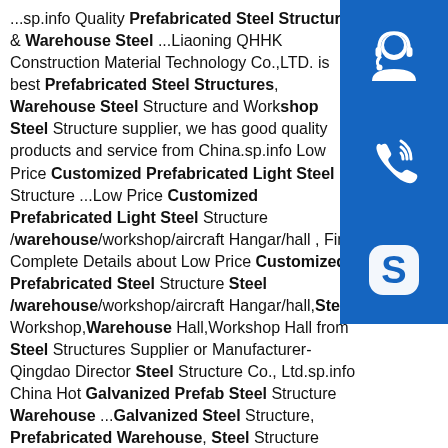...sp.info Quality Prefabricated Steel Structures & Warehouse Steel ...Liaoning QHHK Construction Material Technology Co.,LTD. is best Prefabricated Steel Structures, Warehouse Steel Structure and Workshop Steel Structure supplier, we has good quality products and service from China.sp.info Low Price Customized Prefabricated Light Steel Structure ...Low Price Customized Prefabricated Light Steel Structure /warehouse/workshop/aircraft Hangar/hall , Find Complete Details about Low Price Customized Prefabricated Steel Structure Steel /warehouse/workshop/aircraft Hangar/hall,Steel Workshop,Warehouse Hall,Workshop Hall from Steel Structures Supplier or Manufacturer-Qingdao Director Steel Structure Co., Ltd.sp.info China Hot Galvanized Prefab Steel Structure Warehouse ...Galvanized Steel Structure, Prefabricated Warehouse, Steel Structure Building manufacturer / supplier in China, offering Hot Galvanized Prefab Steel Structure Warehouse, Easy Installation Prefab Construction with
[Figure (illustration): Blue square button with white headset/customer service icon]
[Figure (illustration): Blue square button with white phone/call icon]
[Figure (illustration): Blue square button with white Skype icon logo]